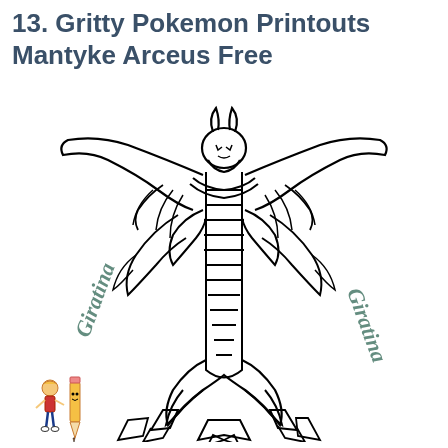13. Gritty Pokemon Printouts Mantyke Arceus Free
[Figure (illustration): Black and white coloring page illustration of Giratina (a large dragon-like legendary Pokemon) in its Altered Forme, with large wings spread wide, segmented body with stripes, horns, and crystal spikes at its base. The word 'Giratina' appears in stylized script on both the lower left and lower right of the image. A small logo in the bottom left corner shows a cartoon boy and pencil mascot with text 'Bold n Bossy! YesColoring.com']